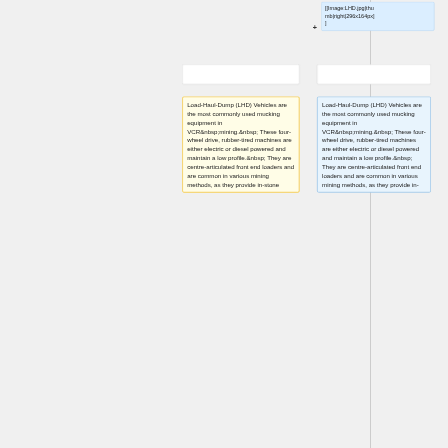[Figure (screenshot): Wikipedia-style diff editor showing image markup: [[Image:LHD.jpg|thumb|right|296x164px]]]
Load-Haul-Dump (LHD) Vehicles are the most commonly used mucking equipment in VCR mining.  These four-wheel drive, rubber-tired machines are either electric or diesel powered and maintain a low profile.  They are centre-articulated front end loaders and are common in various mining methods, as they provide in-stone
Load-Haul-Dump (LHD) Vehicles are the most commonly used mucking equipment in VCR mining.  These four-wheel drive, rubber-tired machines are either electric or diesel powered and maintain a low profile.  They are centre-articulated front end loaders and are common in various mining methods, as they provide in-stone